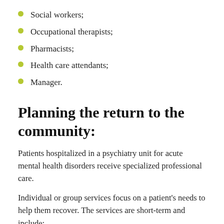Social workers;
Occupational therapists;
Pharmacists;
Health care attendants;
Manager.
Planning the return to the community:
Patients hospitalized in a psychiatry unit for acute mental health disorders receive specialized professional care.
Individual or group services focus on a patient's needs to help them recover. The services are short-term and include: